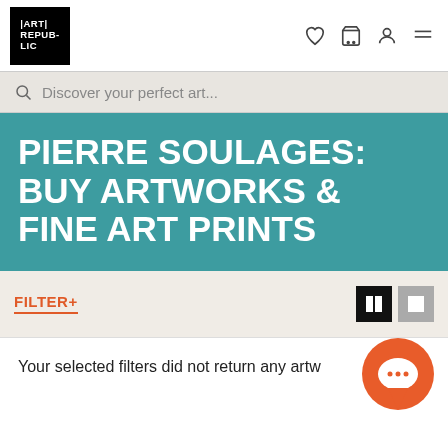ART REPUBLIC
Discover your perfect art...
PIERRE SOULAGES: BUY ARTWORKS & FINE ART PRINTS
FILTER+
Your selected filters did not return any artw...
Next